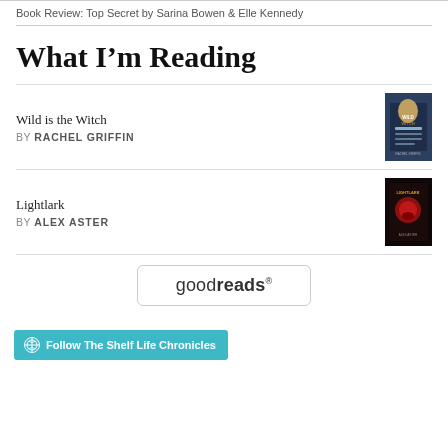Book Review: Top Secret by Sarina Bowen & Elle Kennedy
What I'm Reading
Wild is the Witch
BY RACHEL GRIFFIN
Lightlark
BY ALEX ASTER
[Figure (logo): goodreads logo inside a rounded rectangle button]
Follow The Shelf Life Chronicles